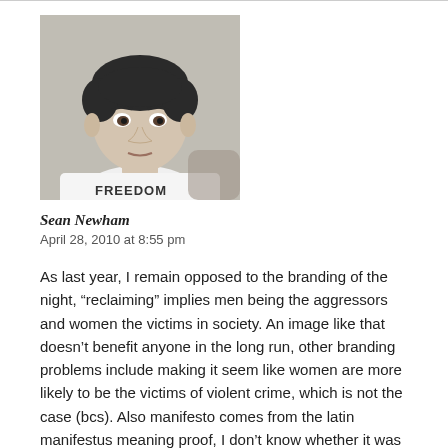[Figure (photo): Black and white headshot photo of a young man wearing a white t-shirt with 'FREEDOM' text, looking slightly downward]
Sean Newham
April 28, 2010 at 8:55 pm
As last year, I remain opposed to the branding of the night, “reclaiming” implies men being the aggressors and women the victims in society. An image like that doesn’t benefit anyone in the long run, other branding problems include making it seem like women are more likely to be the victims of violent crime, which is not the case (bcs). Also manifesto comes from the latin manifestus meaning proof, I don’t know whether it was supposed to be a joke, or whether it was another tragic mistake like